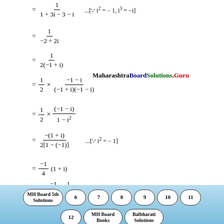MH Board 5th Solutions | 6 | 7 | 8 | 9 | 10 | 11 | 12 | MH Board Books | Balbharati Solutions